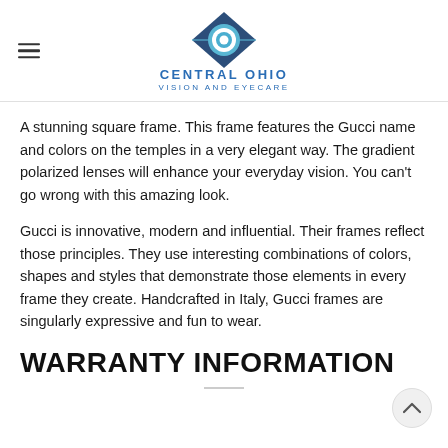[Figure (logo): Central Ohio Vision and Eyecare logo — diamond/eye icon in blue and teal above the text CENTRAL OHIO VISION AND EYECARE in blue]
A stunning square frame. This frame features the Gucci name and colors on the temples in a very elegant way. The gradient polarized lenses will enhance your everyday vision. You can't go wrong with this amazing look.
Gucci is innovative, modern and influential. Their frames reflect those principles. They use interesting combinations of colors, shapes and styles that demonstrate those elements in every frame they create. Handcrafted in Italy, Gucci frames are singularly expressive and fun to wear.
WARRANTY INFORMATION